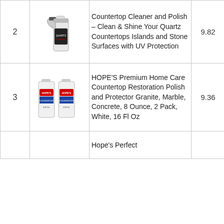| # | Image | Product Name | Score | Price |
| --- | --- | --- | --- | --- |
| 2 | [spray bottle image] | Countertop Cleaner and Polish – Clean & Shine Your Quartz Countertops Islands and Stone Surfaces with UV Protection | 9.82 | Check Price |
| 3 | [two bottles image] | HOPE'S Premium Home Care Countertop Restoration Polish and Protector Granite, Marble, Concrete, 8 Ounce, 2 Pack, White, 16 Fl Oz | 9.36 | Check Price |
|  |  | Hope's Perfect |  |  |